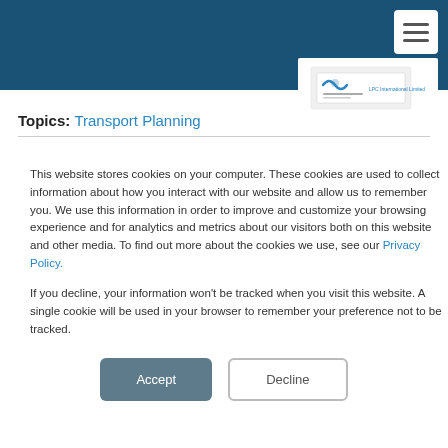[Figure (other): Dark blue header bar with hamburger menu button and a white company logo/brochure image in the bottom-right corner]
Topics: Transport Planning
This website stores cookies on your computer. These cookies are used to collect information about how you interact with our website and allow us to remember you. We use this information in order to improve and customize your browsing experience and for analytics and metrics about our visitors both on this website and other media. To find out more about the cookies we use, see our Privacy Policy.
If you decline, your information won't be tracked when you visit this website. A single cookie will be used in your browser to remember your preference not to be tracked.
Accept
Decline